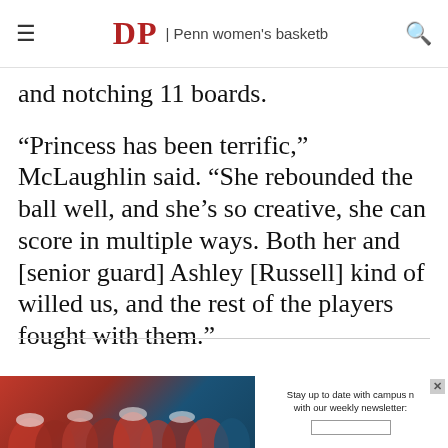≡  DP | Penn women's basketb  🔍
and notching 11 boards.
“Princess has been terrific,” McLaughlin said. “She rebounded the ball well, and she’s so creative, she can score in multiple ways. Both her and [senior guard] Ashley [Russell] kind of willed us, and the rest of the players fought with them.”
[Figure (photo): Advertisement banner showing a crowd of Penn students in red shirts celebrating, with a newsletter signup overlay reading 'Stay up to date with campus n... with our weekly newsletter:' and an input field.]